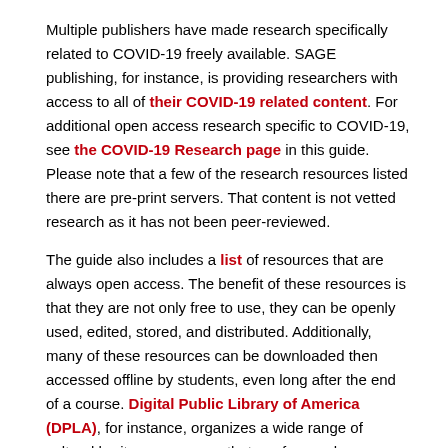Multiple publishers have made research specifically related to COVID-19 freely available. SAGE publishing, for instance, is providing researchers with access to all of their COVID-19 related content. For additional open access research specific to COVID-19, see the COVID-19 Research page in this guide. Please note that a few of the research resources listed there are pre-print servers. That content is not vetted research as it has not been peer-reviewed.
The guide also includes a list of resources that are always open access. The benefit of these resources is that they are not only free to use, they can be openly used, edited, stored, and distributed. Additionally, many of these resources can be downloaded then accessed offline by students, even long after the end of a course. Digital Public Library of America (DPLA), for instance, organizes a wide range of cultural heritage resources that are free and immediately available in digital format.